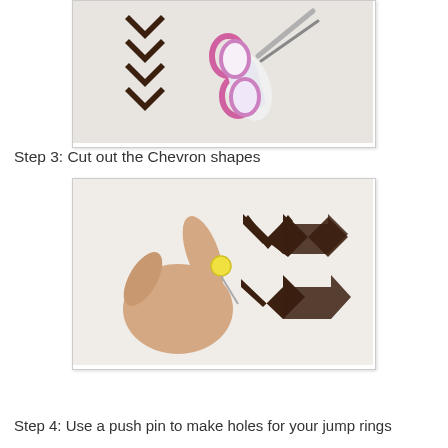[Figure (photo): Photo of pink and white scissors next to dark brown chevron/arrow shapes cut out on a light background]
Step 3: Cut out the Chevron shapes
[Figure (photo): Photo of a hand holding a yellow push pin near two dark brown chevron/arrow shapes on a white surface, about to make holes in the felt pieces]
Step 4: Use a push pin to make holes for your jump rings